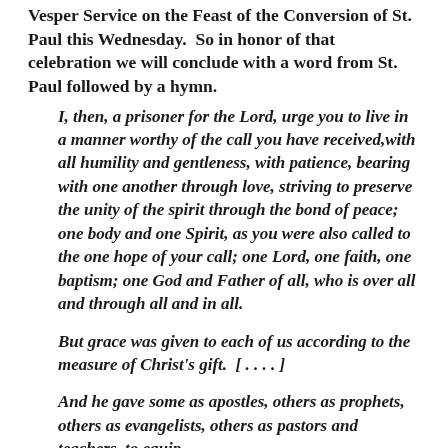Vesper Service on the Feast of the Conversion of St. Paul this Wednesday. So in honor of that celebration we will conclude with a word from St. Paul followed by a hymn.
I, then, a prisoner for the Lord, urge you to live in a manner worthy of the call you have received,with all humility and gentleness, with patience, bearing with one another through love, striving to preserve the unity of the spirit through the bond of peace; one body and one Spirit, as you were also called to the one hope of your call; one Lord, one faith, one baptism; one God and Father of all, who is over all and through all and in all.
But grace was given to each of us according to the measure of Christ's gift.  [ . . . . ]
And he gave some as apostles, others as prophets, others as evangelists, others as pastors and teachers, to equip